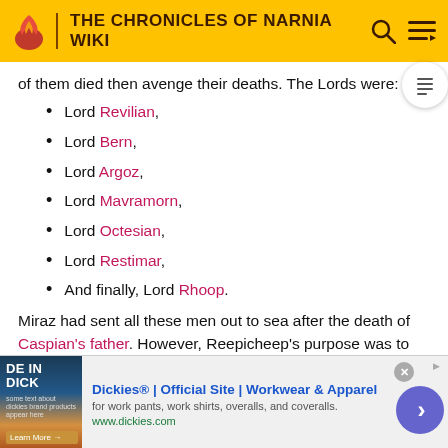THE CHRONICLES OF NARNIA WIKI
of them died then avenge their deaths. The Lords were: -
Lord Revilian,
Lord Bern,
Lord Argoz,
Lord Mavramorn,
Lord Octesian,
Lord Restimar,
And finally, Lord Rhoop.
Miraz had sent all these men out to sea after the death of Caspian's father. However, Reepicheep's purpose was to sail to Aslan's own land. The voyage had already taken the
[Figure (screenshot): Advertisement for Dickies workwear showing brand image and link]